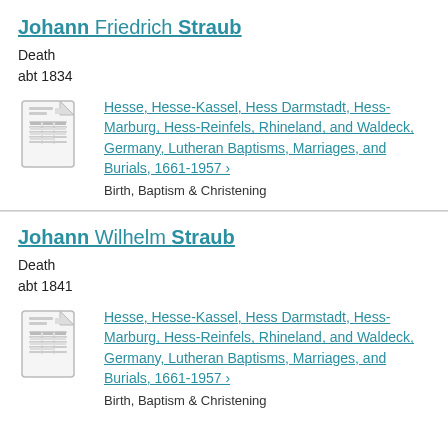Johann Friedrich Straub
Death
abt 1834
Hesse, Hesse-Kassel, Hess Darmstadt, Hess-Marburg, Hess-Reinfels, Rhineland, and Waldeck, Germany, Lutheran Baptisms, Marriages, and Burials, 1661-1957 >
Birth, Baptism & Christening
Johann Wilhelm Straub
Death
abt 1841
Hesse, Hesse-Kassel, Hess Darmstadt, Hess-Marburg, Hess-Reinfels, Rhineland, and Waldeck, Germany, Lutheran Baptisms, Marriages, and Burials, 1661-1957 >
Birth, Baptism & Christening